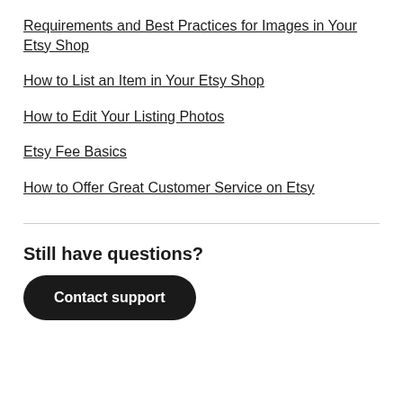Requirements and Best Practices for Images in Your Etsy Shop
How to List an Item in Your Etsy Shop
How to Edit Your Listing Photos
Etsy Fee Basics
How to Offer Great Customer Service on Etsy
Still have questions?
Contact support